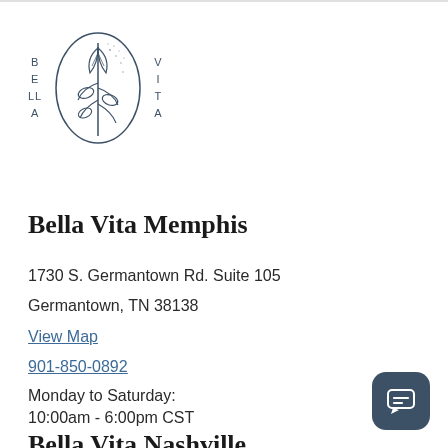[Figure (logo): Bella Vita logo: oval botanical illustration with plant/leaf motif, with letters B-E-LL-A on the left side and V-I-T-A on the right side arranged vertically]
Bella Vita Memphis
1730 S. Germantown Rd. Suite 105
Germantown, TN 38138
View Map
901-850-0892
Monday to Saturday:
10:00am - 6:00pm CST
Bella Vita Nashville